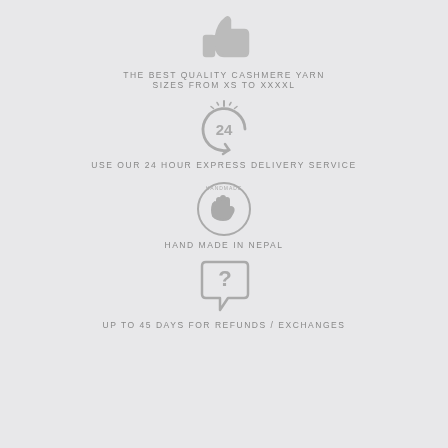[Figure (illustration): Thumbs up icon in gray]
THE BEST QUALITY CASHMERE YARN
SIZES FROM XS TO XXXXL
[Figure (illustration): 24-hour clock/refresh icon in gray]
USE OUR 24 HOUR EXPRESS DELIVERY SERVICE
[Figure (illustration): Handmade badge icon with hand in gray]
HAND MADE IN NEPAL
[Figure (illustration): Speech bubble with question mark in gray]
UP TO 45 DAYS FOR REFUNDS / EXCHANGES